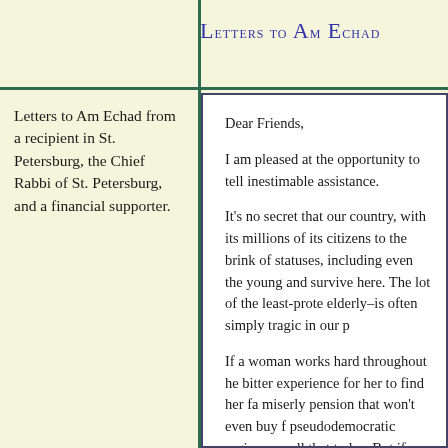Letters to Am Echad
Letters to Am Echad from a recipient in St. Petersburg, the Chief Rabbi of St. Petersburg, and a financial supporter.
Dear Friends,

I am pleased at the opportunity to tell inestimable assistance.

It's no secret that our country, with its millions of its citizens to the brink of statuses, including even the young and survive here. The lot of the least-prote elderly–is often simply tragic in our p

If a woman works hard throughout he bitter experience for her to find her fa miserly pension that won't even buy f pseudodemocratic regime are all that today. But if society is still anti-Semit with still more complications. Thus ha ballyhooed "perestroika" did not bring Changes for us began with the arrival city, when for the first time things sud Jews by reason of our nationality!